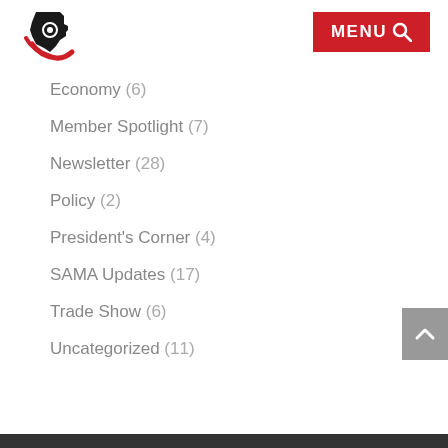[Figure (logo): Texas state outline logo with gear and red swoosh, SAMA organization logo]
MENU (search icon)
Economy (6)
Member Spotlight (7)
Newsletter (28)
Policy (2)
President's Corner (4)
SAMA Updates (17)
Trade Show (6)
Uncategorized (11)